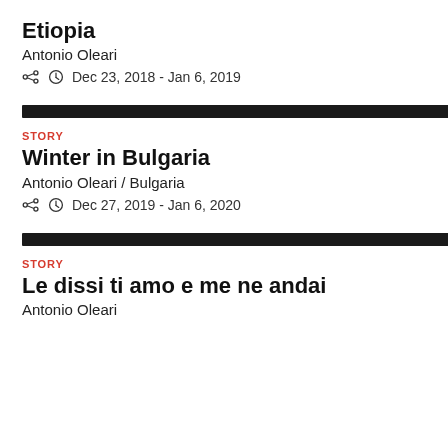Etiopia
Antonio Oleari
Dec 23, 2018 - Jan 6, 2019
STORY
Winter in Bulgaria
Antonio Oleari / Bulgaria
Dec 27, 2019 - Jan 6, 2020
STORY
Le dissi ti amo e me ne andai
Antonio Oleari